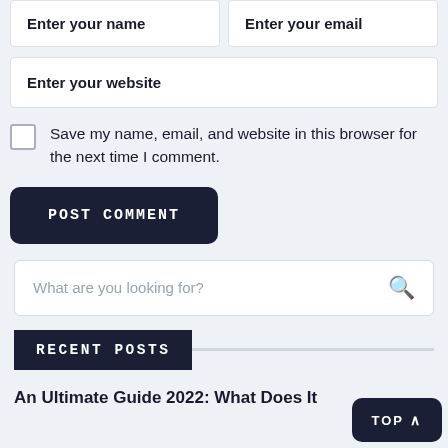[Figure (screenshot): Form input field placeholder reading 'Enter your name']
[Figure (screenshot): Form input field placeholder reading 'Enter your email']
[Figure (screenshot): Form input field placeholder reading 'Enter your website']
Save my name, email, and website in this browser for the next time I comment.
[Figure (screenshot): Button labeled 'POST COMMENT' in dark navy rounded rectangle]
[Figure (screenshot): Search box with placeholder 'What are you looking for?' and search icon]
RECENT POSTS
An Ultimate Guide 2022: What Does It
[Figure (screenshot): TOP button with caret in bottom right corner]